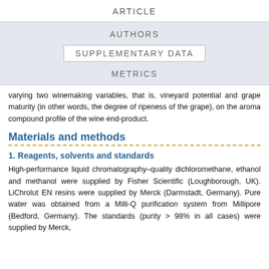ARTICLE
AUTHORS
SUPPLEMENTARY DATA
METRICS
varying two winemaking variables, that is, vineyard potential and grape maturity (in other words, the degree of ripeness of the grape), on the aroma compound profile of the wine end-product.
Materials and methods
1. Reagents, solvents and standards
High-performance liquid chromatography–quality dichloromethane, ethanol and methanol were supplied by Fisher Scientific (Loughborough, UK). LiChrolut EN resins were supplied by Merck (Darmstadt, Germany). Pure water was obtained from a Milli-Q purification system from Millipore (Bedford, Germany). The standards (purity > 98% in all cases) were supplied by Merck,